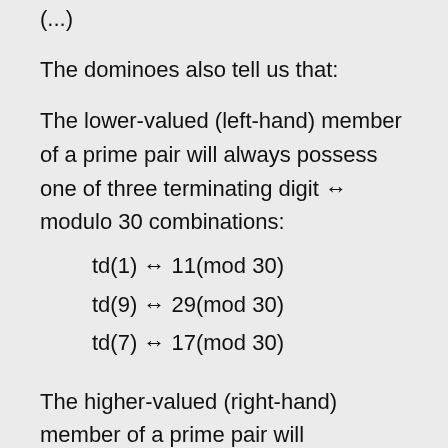(...)
The dominoes also tell us that:
The lower-valued (left-hand) member of a prime pair will always possess one of three terminating digit ↔ modulo 30 combinations:
td(1) ↔ 11(mod 30)
td(9) ↔ 29(mod 30)
td(7) ↔ 17(mod 30)
The higher-valued (right-hand) member of a prime pair will